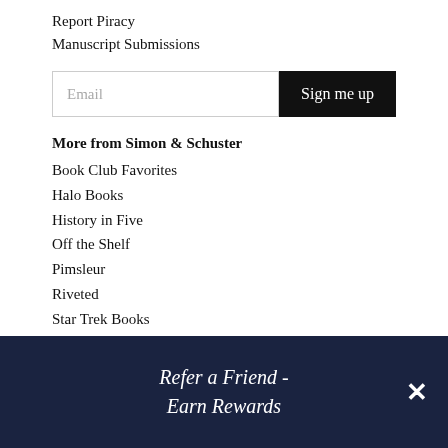Report Piracy
Manuscript Submissions
Email input and Sign me up button
More from Simon & Schuster
Book Club Favorites
Halo Books
History in Five
Off the Shelf
Pimsleur
Riveted
Star Trek Books
Tips on Life & Love
Refer a Friend - Earn Rewards